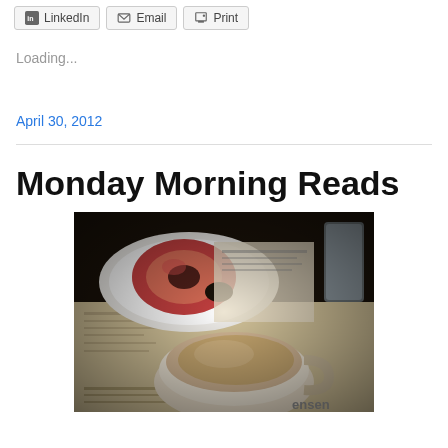LinkedIn  Email  Print
Loading...
April 30, 2012
Monday Morning Reads
[Figure (photo): Photo of a glazed donut on a white plate beside a cup of cappuccino and a newspaper, with a glass of water in the background. Instagram-style warm toned filter.]